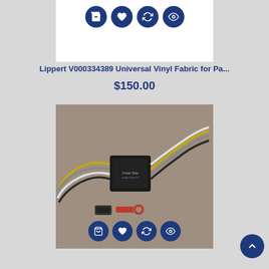[Figure (screenshot): Row of four dark blue circular icon buttons: shopping cart, heart/wishlist, refresh/compare, eye/view]
Lippert V000334389 Universal Vinyl Fabric for Pa...
$150.00
[Figure (photo): Photo of an electronic wiring module/controller (black box) with multiple colored wires and two connectors, placed on a gray surface]
[Figure (screenshot): Row of four dark blue circular icon buttons at bottom of product card: shopping cart, heart/wishlist, refresh/compare, eye/view; plus a scroll-to-top arrow button on the right]